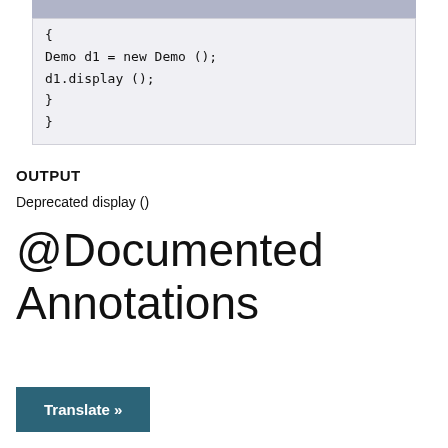[Figure (screenshot): Code block showing Java-like code: { Demo d1 = new Demo (); d1.display (); } }]
OUTPUT
Deprecated display ()
@Documented Annotations
Translate »